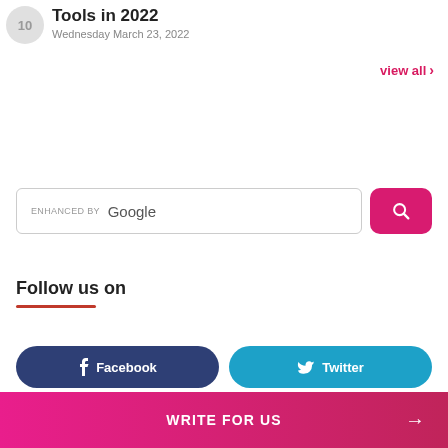Tools in 2022
Wednesday March 23, 2022
view all >
[Figure (screenshot): Search bar with 'ENHANCED BY Google' label and a pink search button with magnifying glass icon]
Follow us on
Facebook
Twitter
WRITE FOR US →